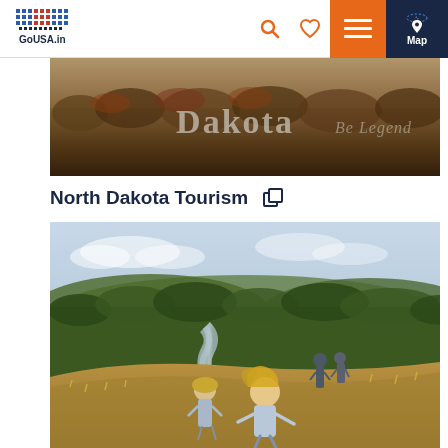GoUSA.in navigation bar with logo, search, heart, menu, and map buttons
[Figure (photo): Aerial landscape photo showing forested terrain with text overlay reading 'Dakota Be Legenda']
North Dakota Tourism
[Figure (photo): Family hiking on rolling green hills with a winding river valley below, children running in foreground in golden grass]